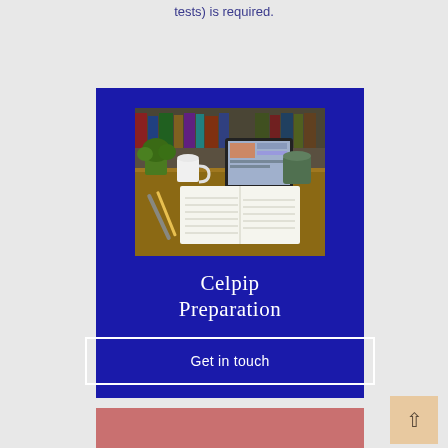tests) is required.
[Figure (photo): Blue promotional card for Celpip Preparation featuring a photo of a study desk with an open notebook, tablet, plants, and a mug. Below the photo is white text reading 'Celpip Preparation' and a bordered button reading 'Get in touch'.]
[Figure (photo): Partial view of a pink/rose colored card at the bottom of the page, partially cut off.]
[Figure (other): Scroll-to-top button with an upward arrow, tan/beige colored, in the bottom right corner.]